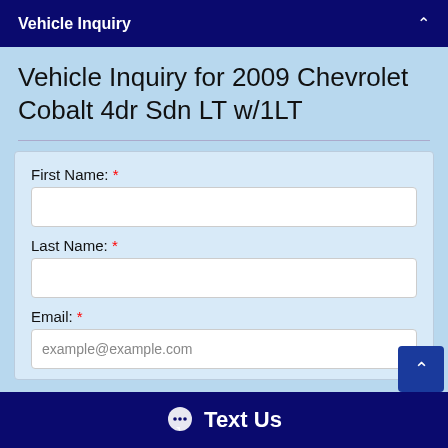Vehicle Inquiry
Vehicle Inquiry for 2009 Chevrolet Cobalt 4dr Sdn LT w/1LT
First Name: *
Last Name: *
Email: *
example@example.com
Text Us